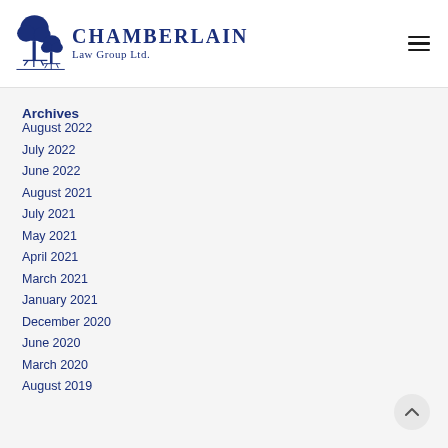Chamberlain Law Group Ltd.
Archives
August 2022
July 2022
June 2022
August 2021
July 2021
May 2021
April 2021
March 2021
January 2021
December 2020
June 2020
March 2020
August 2019